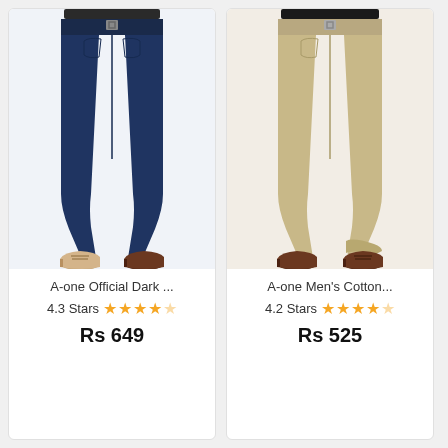[Figure (photo): Man wearing navy dark slim-fit trousers with beige lace-up shoes, cropped at waist to feet]
A-one Official Dark ...
4.3 Stars ★★★★☆
Rs 649
[Figure (photo): Man wearing khaki beige slim-fit trousers with dark brown boots, cropped at waist to feet]
A-one Men's Cotton...
4.2 Stars ★★★★☆
Rs 525